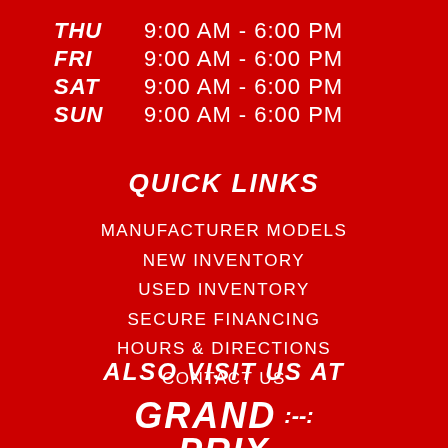THU   9:00 AM - 6:00 PM
FRI   9:00 AM - 6:00 PM
SAT   9:00 AM - 6:00 PM
SUN   9:00 AM - 6:00 PM
QUICK LINKS
MANUFACTURER MODELS
NEW INVENTORY
USED INVENTORY
SECURE FINANCING
HOURS & DIRECTIONS
CONTACT US
ALSO VISIT US AT
[Figure (logo): Grand Prix logo in white italic bold font on red background]